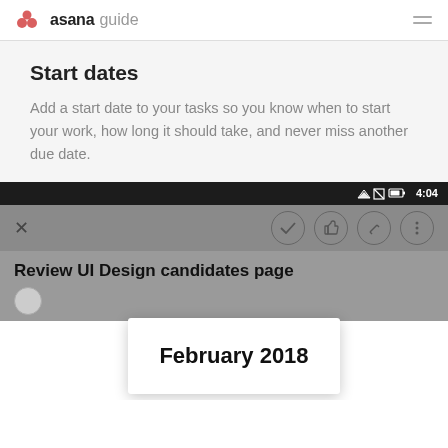asana guide
Start dates
Add a start date to your tasks so you know when to start your work, how long it should take, and never miss another due date.
[Figure (screenshot): Mobile screenshot of the Asana app showing a task detail view 'Review UI Design candidates page' with a date picker overlay showing 'February 2018']